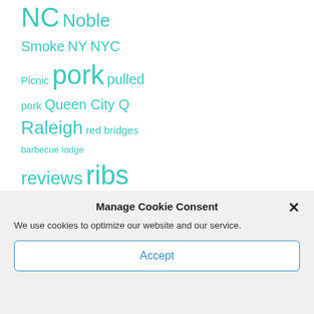NC Noble
Smoke NY NYC
Picnic pork pulled
pork Queen City Q
Raleigh red bridges
barbecue lodge
reviews ribs
Robert Moss
Rodney Scott
Manage Cookie Consent
We use cookies to optimize our website and our service.
Accept